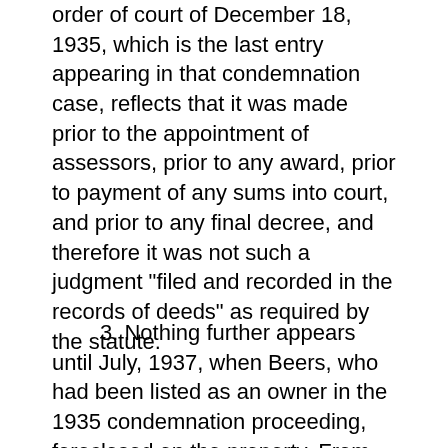order of court of December 18, 1935, which is the last entry appearing in that condemnation case, reflects that it was made prior to the appointment of assessors, prior to any award, prior to payment of any sums into court, and prior to any final decree, and therefore it was not such a judgment "filed and recorded in the records of deeds" as required by the statute.
3. Nothing further appears until July, 1937, when Beers, who had been listed as an owner in the 1935 condemnation proceeding, foreclosed on the property. From there on the chain of title from Beers to the Garretts is clear. But the condemnation itself, which failed of completion